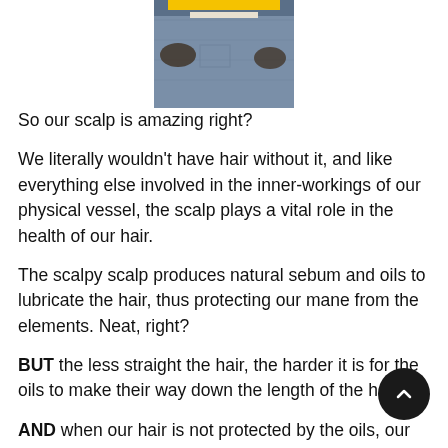[Figure (photo): Partial photo showing torso of a child in jeans holding a yellow book/object, cropped at top of page]
So our scalp is amazing right?
We literally wouldn't have hair without it, and like everything else involved in the inner-workings of our physical vessel, the scalp plays a vital role in the health of our hair.
The scalpy scalp produces natural sebum and oils to lubricate the hair, thus protecting our mane from the elements. Neat, right?
BUT the less straight the hair, the harder it is for the oils to make their way down the length of the hair,
AND when our hair is not protected by the oils, our hair is more susceptible to damage due to dryness